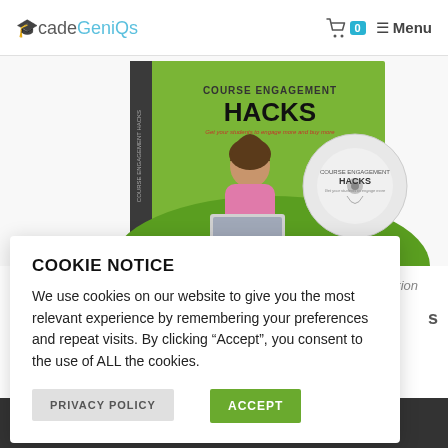AcadeGeniQs — Menu (navigation bar with cart icon showing 0)
[Figure (illustration): Course Engagement Hacks book cover with a woman at a laptop on a green illustrated background, plus a CD disc with the same branding]
Promotion
s
COOKIE NOTICE
We use cookies on our website to give you the most relevant experience by remembering your preferences and repeat visits. By clicking “Accept”, you consent to the use of ALL the cookies.
PRIVACY POLICY
ACCEPT